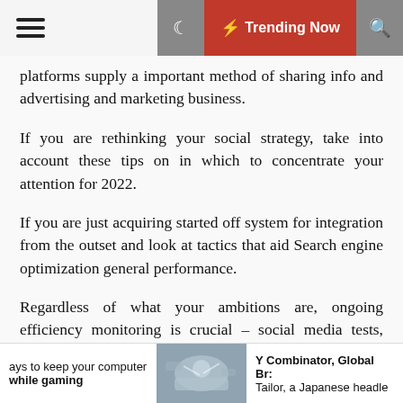☰ ☾ ⚡ Trending Now 🔍
platforms supply a important method of sharing info and advertising and marketing business.
If you are rethinking your social strategy, take into account these tips on in which to concentrate your attention for 2022.
If you are just acquiring started off system for integration from the outset and look at tactics that aid Search engine optimization general performance.
Regardless of what your ambitions are, ongoing efficiency monitoring is crucial – social media tests, understanding, and pivoting ought to be a constant system.
Developing a adaptable social technique is arguably a
ays to keep your computer while gaming | [image] | Y Combinator, Global Br: Tailor, a Japanese headle